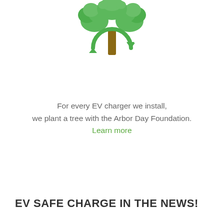[Figure (illustration): Green tree with circular arrow (recycle/power) icon below it, representing environmental initiative]
For every EV charger we install,
we plant a tree with the Arbor Day Foundation.
Learn more
EV SAFE CHARGE IN THE NEWS!